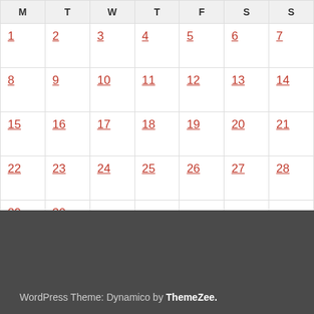| M | T | W | T | F | S | S |
| --- | --- | --- | --- | --- | --- | --- |
| 1 | 2 | 3 | 4 | 5 | 6 | 7 |
| 8 | 9 | 10 | 11 | 12 | 13 | 14 |
| 15 | 16 | 17 | 18 | 19 | 20 | 21 |
| 22 | 23 | 24 | 25 | 26 | 27 | 28 |
| 29 | 30 |  |  |  |  |  |
« Oct   Dec »
WordPress Theme: Dynamico by ThemeZee.